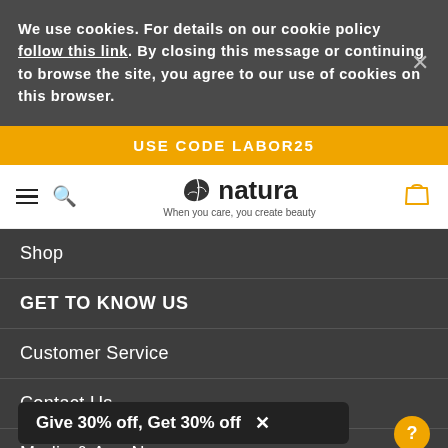We use cookies. For details on our cookie policy follow this link. By closing this message or continuing to browse the site, you agree to our use of cookies on this browser.
USE CODE LABOR25
[Figure (logo): Natura brand logo with leaf icon and tagline 'When you care, you create beauty']
Shop
GET TO KNOW US
Customer Service
Contact Us
Meditate App No...
Give 30% off, Get 30% off
4 different forms of meditation, free of charge, to help you bring more